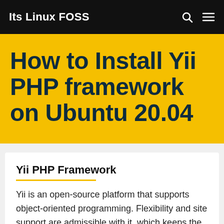Its Linux FOSS
How to Install Yii PHP framework on Ubuntu 20.04
Yii PHP Framework
Yii is an open-source platform that supports object-oriented programming. Flexibility and site support are admissible with it, which keeps the developing